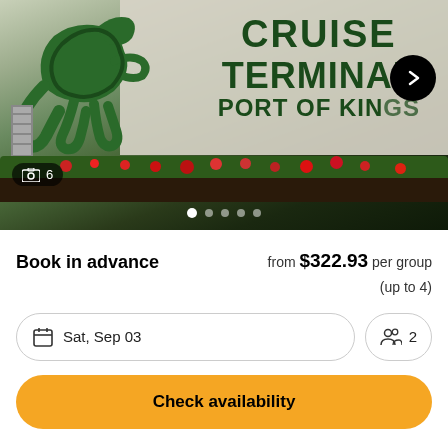[Figure (photo): Photo of a cruise terminal sign reading 'CRUISE TERMINAL PORT OF KINGS' with a green animal logo/sculpture on the left, red flowers in a planter box below, next arrow button overlay, image count badge showing 6, and 5 pagination dots at the bottom]
Book in advance
from $322.93 per group (up to 4)
Sat, Sep 03
2
Check availability